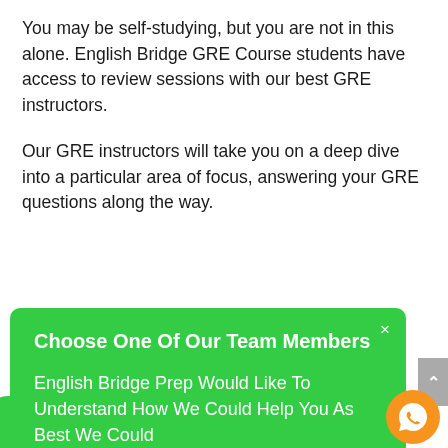You may be self-studying, but you are not in this alone. English Bridge GRE Course students have access to review sessions with our best GRE instructors.
Our GRE instructors will take you on a deep dive into a particular area of focus, answering your GRE questions along the way.
[Figure (screenshot): Green chat modal overlay with title 'Choose One Of Our Team Members' and body text 'English Bridge Prep Would Like To Understand How We Could Help You As Best We Could', with a close (×) button in the top right corner.]
Last Seen A Few Minutes Ago
Isyana